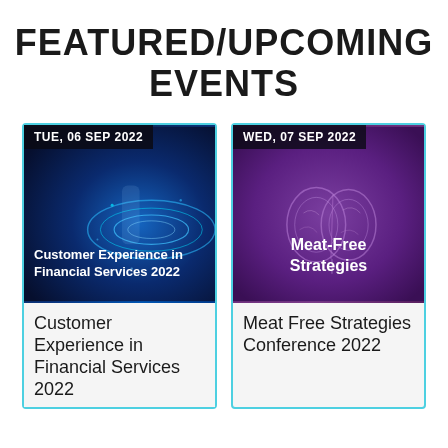FEATURED/UPCOMING EVENTS
[Figure (photo): Event card for 'Customer Experience in Financial Services 2022' with date badge 'TUE, 06 SEP 2022' and a dark blue tech/digital swirl background image with white bold title text overlay.]
[Figure (photo): Event card for 'Meat Free Strategies Conference 2022' with date badge 'WED, 07 SEP 2022' and a purple brain illustration background with white bold title text 'Meat-Free Strategies' overlay.]
Customer Experience in Financial Services 2022
Meat Free Strategies Conference 2022